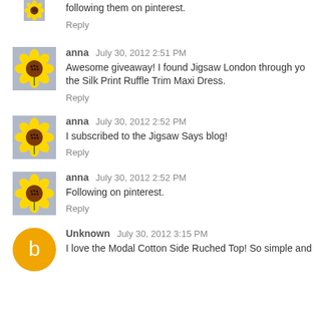following them on pinterest.
Reply
anna  July 30, 2012 2:51 PM
Awesome giveaway! I found Jigsaw London through yo... the Silk Print Ruffle Trim Maxi Dress.
Reply
anna  July 30, 2012 2:52 PM
I subscribed to the Jigsaw Says blog!
Reply
anna  July 30, 2012 2:52 PM
Following on pinterest.
Reply
Unknown  July 30, 2012 3:15 PM
I love the Modal Cotton Side Ruched Top! So simple and...